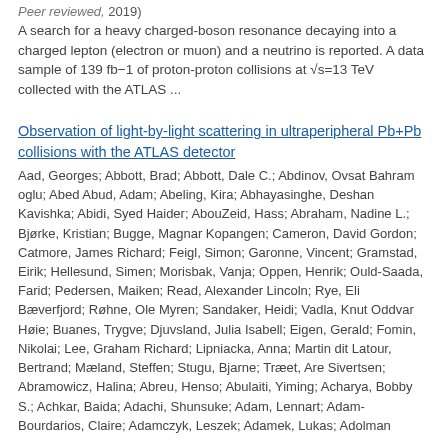Peer reviewed, 2019)
A search for a heavy charged-boson resonance decaying into a charged lepton (electron or muon) and a neutrino is reported. A data sample of 139 fb−1 of proton-proton collisions at √s=13 TeV collected with the ATLAS ...
Observation of light-by-light scattering in ultraperipheral Pb+Pb collisions with the ATLAS detector
Aad, Georges; Abbott, Brad; Abbott, Dale C.; Abdinov, Ovsat Bahram oglu; Abed Abud, Adam; Abeling, Kira; Abhayasinghe, Deshan Kavishka; Abidi, Syed Haider; AbouZeid, Hass; Abraham, Nadine L.; Bjørke, Kristian; Bugge, Magnar Kopangen; Cameron, David Gordon; Catmore, James Richard; Feigl, Simon; Garonne, Vincent; Gramstad, Eirik; Hellesund, Simen; Morisbak, Vanja; Oppen, Henrik; Ould-Saada, Farid; Pedersen, Maiken; Read, Alexander Lincoln; Rye, Eli Bæverfjord; Røhne, Ole Myren; Sandaker, Heidi; Vadla, Knut Oddvar Høie; Buanes, Trygve; Djuvsland, Julia Isabell; Eigen, Gerald; Fomin, Nikolai; Lee, Graham Richard; Lipniacka, Anna; Martin dit Latour, Bertrand; Mæland, Steffen; Stugu, Bjarne; Træet, Are Sivertsen; Abramowicz, Halina; Abreu, Henso; Abulaiti, Yiming; Acharya, Bobby S.; Achkar, Baida; Adachi, Shunsuke; Adam, Lennart; Adam-Bourdarios, Claire; Adamczyk, Leszek; Adamek, Lukas; Adolman